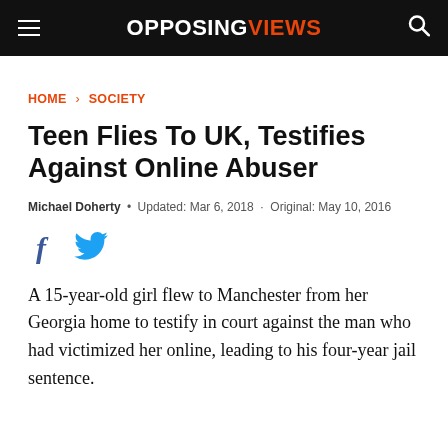OPPOSINGVIEWS
HOME > SOCIETY
Teen Flies To UK, Testifies Against Online Abuser
Michael Doherty • Updated: Mar 6, 2018 · Original: May 10, 2016
[Figure (other): Facebook and Twitter social sharing icons]
A 15-year-old girl flew to Manchester from her Georgia home to testify in court against the man who had victimized her online, leading to his four-year jail sentence.